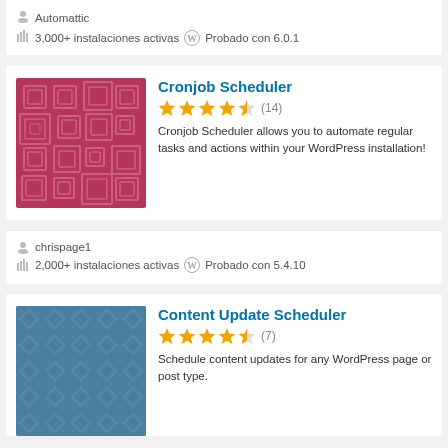Automattic
3,000+ instalaciones activas   Probado con 6.0.1
Cronjob Scheduler
★★★★½ (14)
Cronjob Scheduler allows you to automate regular tasks and actions within your WordPress installation!
chrispage1
2,000+ instalaciones activas   Probado con 5.4.10
Content Update Scheduler
★★★★½ (7)
Schedule content updates for any WordPress page or post type.